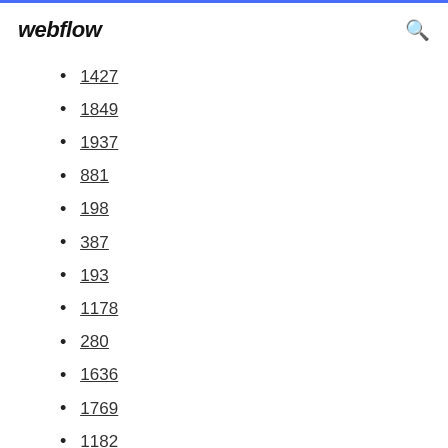webflow
1427
1849
1937
881
198
387
193
1178
280
1636
1769
1182